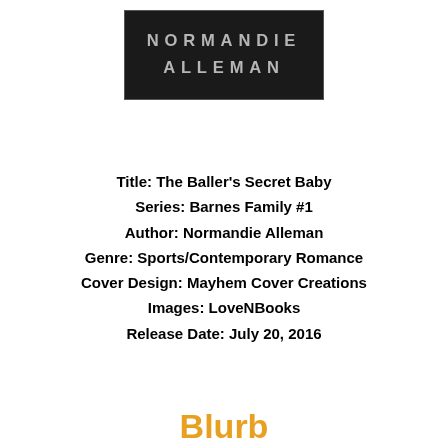[Figure (logo): Normandie Alleman author logo — dark background with silver/grey uppercase text reading NORMANDIE ALLEMAN]
Title: The Baller's Secret Baby
Series: Barnes Family #1
Author: Normandie Alleman
Genre: Sports/Contemporary Romance
Cover Design: Mayhem Cover Creations
Images: LoveNBooks
Release Date: July 20, 2016
Blurb